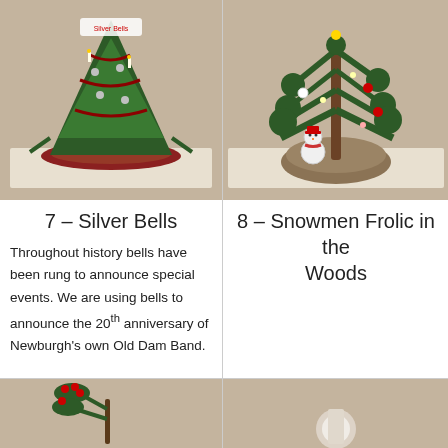[Figure (photo): A decorated Christmas tree labeled 'Silver Bells' with red ribbons, silver ornaments, and candles on a white table with a red tree skirt]
7 – Silver Bells
Throughout history bells have been rung to announce special events.  We are using bells to announce the 20th anniversary of Newburgh's own Old Dam Band.
[Figure (photo): A rustic Christmas tree with a snowman figurine at the base, red ornaments, and lights, on a burlap sack base on a white table]
8 – Snowmen Frolic in the Woods
[Figure (photo): Bottom of page: left side shows a small plant/branch with red berries on a beige background]
[Figure (photo): Bottom of page: right side shows a partial view of a decorated item on a beige background]